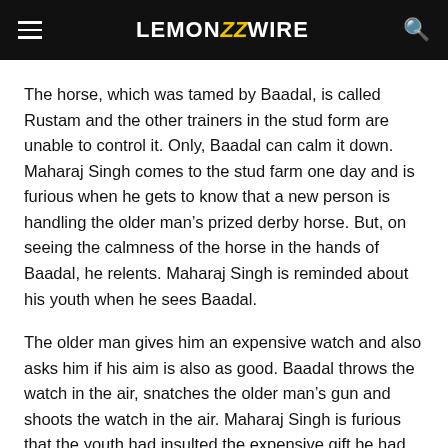LEMON ZZ WIRE
The horse, which was tamed by Baadal, is called Rustam and the other trainers in the stud form are unable to control it. Only, Baadal can calm it down. Maharaj Singh comes to the stud farm one day and is furious when he gets to know that a new person is handling the older man’s prized derby horse. But, on seeing the calmness of the horse in the hands of Baadal, he relents. Maharaj Singh is reminded about his youth when he sees Baadal.
The older man gives him an expensive watch and also asks him if his aim is also as good. Baadal throws the watch in the air, snatches the older man’s gun and shoots the watch in the air. Maharaj Singh is furious that the youth had insulted the expensive gift he had given.